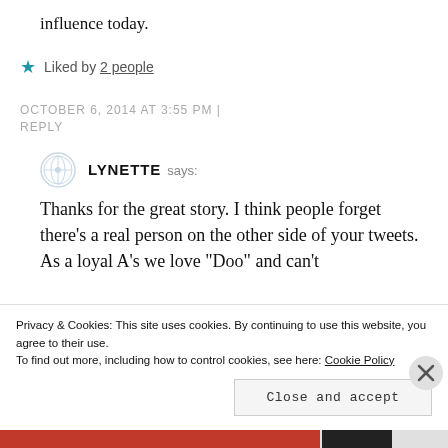influence today.
Liked by 2 people
OCTOBER 6, 2014 AT 3:55 PM | REPLY
LYNETTE says:
Thanks for the great story. I think people forget there’s a real person on the other side of your tweets. As a loyal A’s we love “Doo” and can’t
Privacy & Cookies: This site uses cookies. By continuing to use this website, you agree to their use.
To find out more, including how to control cookies, see here: Cookie Policy
Close and accept